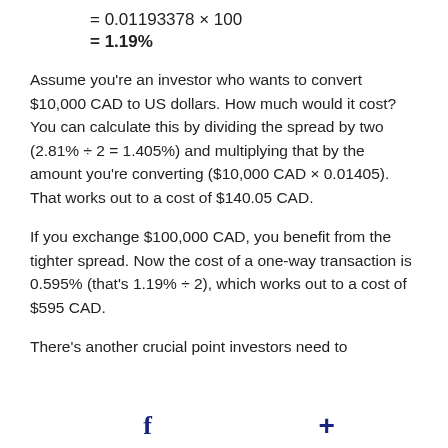= 0.01193378 × 100
= 1.19%
Assume you're an investor who wants to convert $10,000 CAD to US dollars. How much would it cost? You can calculate this by dividing the spread by two (2.81% ÷ 2 = 1.405%) and multiplying that by the amount you're converting ($10,000 CAD × 0.01405). That works out to a cost of $140.05 CAD.
If you exchange $100,000 CAD, you benefit from the tighter spread. Now the cost of a one-way transaction is 0.595% (that's 1.19% ÷ 2), which works out to a cost of $595 CAD.
There's another crucial point investors need to
f   +